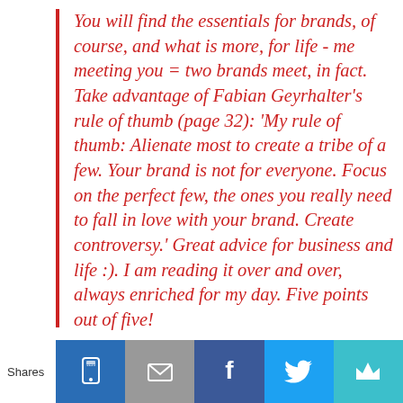You will find the essentials for brands, of course, and what is more, for life - me meeting you = two brands meet, in fact. Take advantage of Fabian Geyrhalter's rule of thumb (page 32): 'My rule of thumb: Alienate most to create a tribe of a few. Your brand is not for everyone. Focus on the perfect few, the ones you really need to fall in love with your brand. Create controversy.' Great advice for business and life :). I am reading it over and over, always enriched for my day. Five points out of five!
[Figure (infographic): Social share bar with icons for SITSI, email, Facebook, Twitter, and a crown/mute button. Label 'Shares' on the left.]